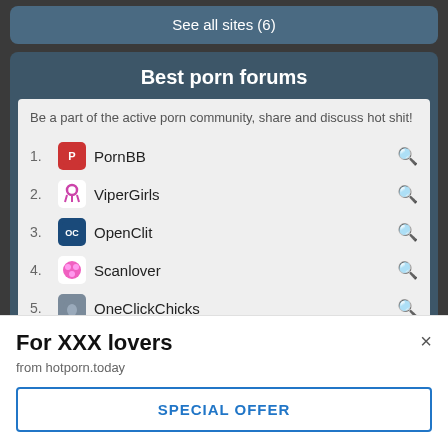See all sites (6)
Best porn forums
Be a part of the active porn community, share and discuss hot shit!
1. PornBB
2. ViperGirls
3. OpenClit
4. Scanlover
5. OneClickChicks
See all sites (8)
For XXX lovers
from hotporn.today
SPECIAL OFFER